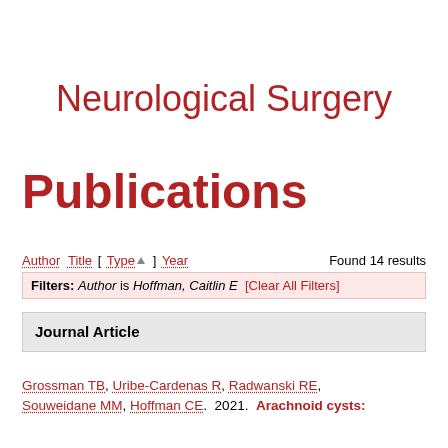Neurological Surgery
Publications
Author Title [ Type ] Year   Found 14 results
Filters: Author is Hoffman, Caitlin E [Clear All Filters]
Journal Article
Grossman TB, Uribe-Cardenas R, Radwanski RE, Souweidane MM, Hoffman CE. 2021. Arachnoid cysts: